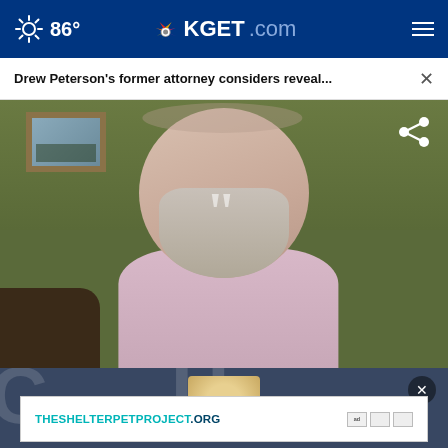86° KGET.com
Drew Peterson's former attorney considers reveal... ×
[Figure (screenshot): Video still of an elderly bald man with a white beard, wearing a light pink shirt, seated indoors near a framed picture on a dark green wall. A share icon is visible in the top right of the video frame, and a quotation mark is overlaid.]
[Figure (screenshot): Partial overlay at bottom of video showing a dark blue banner with large faded letters 'C' and 'U' and partial text 'AL OF', with a round seal/badge partially visible, a close (×) button.]
THESHELTERPETPROJECT.ORG